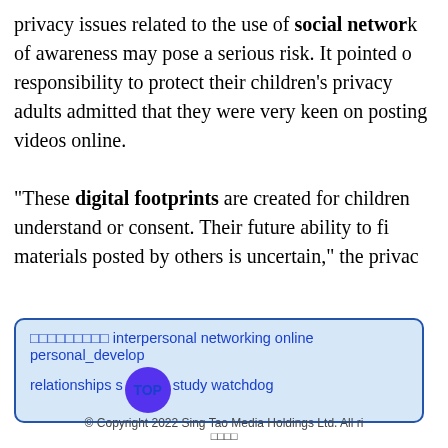privacy issues related to the use of social networks. Lack of awareness may pose a serious risk. It pointed out parents' responsibility to protect their children's privacy as adults admitted that they were very keen on posting children's videos online.
“These digital footprints are created for children before they understand or consent. Their future ability to find and remove materials posted by others is uncertain,” the privacy watchdog said.
(The Standard, Jasmi...
網絡欁凌威威威威威 interpersonal networking online personal_development relationships self-study watchdog
© Copyright 2022 Sing Tao Media Holdings Ltd. All rights reserved. 網絡欁凌